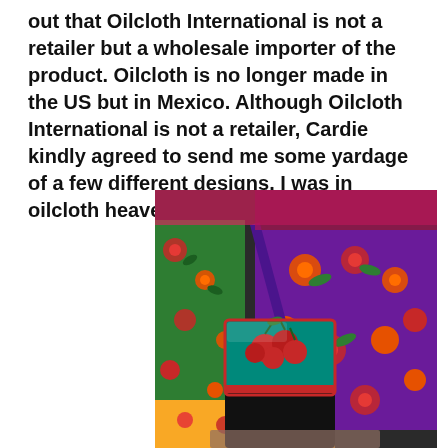out that Oilcloth International is not a retailer but a wholesale importer of the product. Oilcloth is no longer made in the US but in Mexico. Although Oilcloth International is not a retailer, Cardie kindly agreed to send me some yardage of a few different designs. I was in oilcloth heaven.
[Figure (photo): Photo of colorful oilcloth bags and fabric: a small teal purse with cherries design, a larger purple floral bag, and colorful oilcloth fabric in green and yellow floral patterns in the background.]